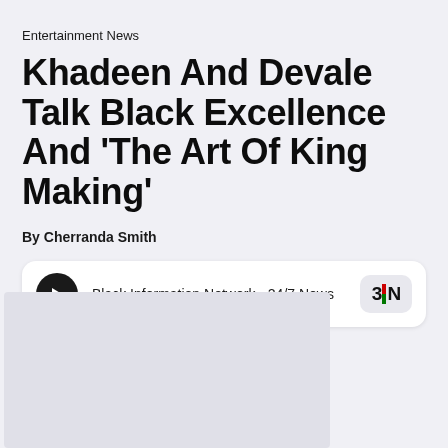Entertainment News
Khadeen And Devale Talk Black Excellence And 'The Art Of King Making'
By Cherranda Smith
[Figure (other): Audio player widget for Black Information Network - 24/7 News with play button and BIN logo]
[Figure (photo): Article image placeholder (light gray)]